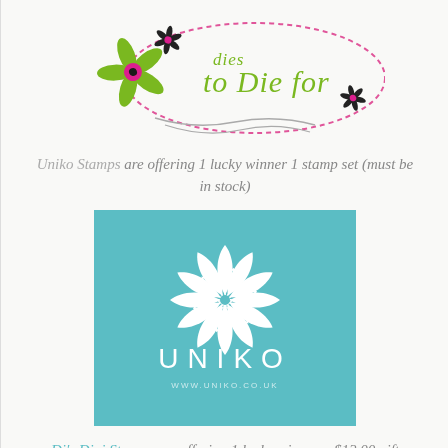[Figure (logo): Dies to Die For logo with decorative flowers and cursive/handwritten text inside a pink dotted oval]
Uniko Stamps are offering 1 lucky winner 1 stamp set (must be in stock)
[Figure (logo): Uniko Stamps logo: teal/turquoise square with white stylized flower/chrysanthemum and white UNIKO text and www.uniko.co.uk URL]
Di's Digi Stamps are offering 1 lucky winner a $12.00 gift